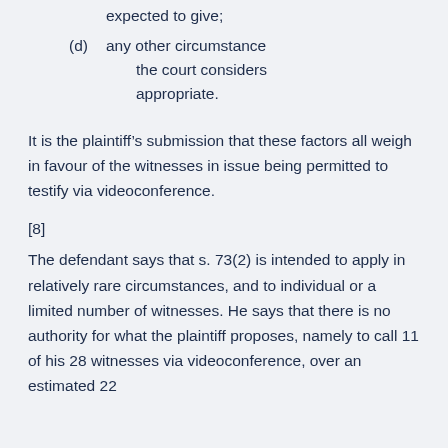expected to give;
(d)    any other circumstance the court considers appropriate.
It is the plaintiff’s submission that these factors all weigh in favour of the witnesses in issue being permitted to testify via videoconference.
[8]
The defendant says that s. 73(2) is intended to apply in relatively rare circumstances, and to individual or a limited number of witnesses. He says that there is no authority for what the plaintiff proposes, namely to call 11 of his 28 witnesses via videoconference, over an estimated 22